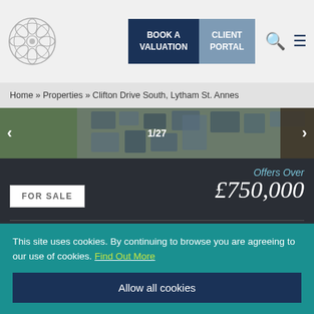[Figure (logo): Circular floral/rose emblem logo in grey]
BOOK A VALUATION
CLIENT PORTAL
Home » Properties » Clifton Drive South, Lytham St. Annes
[Figure (photo): Property exterior photo carousel, showing 1/27]
Offers Over
FOR SALE
£750,000
Bungalow, Detached Bungalow
Clifton Drive South,
This site uses cookies. By continuing to browse you are agreeing to our use of cookies. Find Out More
Allow all cookies